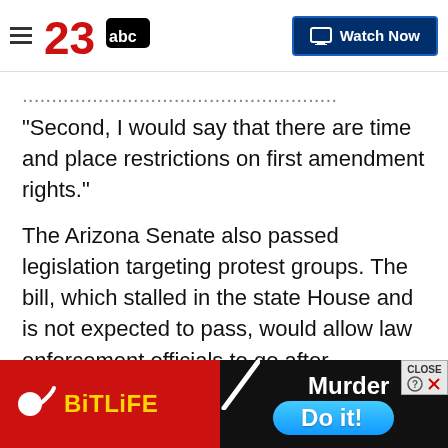23abc — Watch Now
"Second, I would say that there are time and place restrictions on first amendment rights."
The Arizona Senate also passed legislation targeting protest groups. The bill, which stalled in the state House and is not expected to pass, would allow law enforcement officials to go after organizers of any protest that turns violent, even if the violence was caused by a single attendee. The measure would accomplish this by making rioting a crime that can be prosecuted under the state's racketeering laws and
[Figure (screenshot): BitLife game advertisement banner with red background, yellow BitLife logo, and 'Murder / Do it!' call to action]